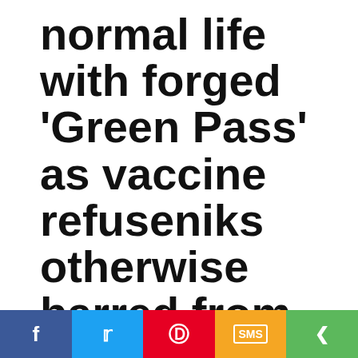normal life with forged 'Green Pass' as vaccine refuseniks otherwise barred from venues
Confirmation Passports, CoronaVirus, CoV-19, Israel, News, Vaccine, World
[Figure (photo): Partial image strip showing three preview images at the bottom of the article]